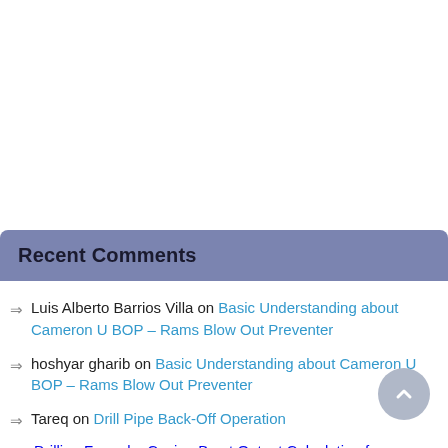Recent Comments
Luis Alberto Barrios Villa on Basic Understanding about Cameron U BOP – Rams Blow Out Preventer
hoshyar gharib on Basic Understanding about Cameron U BOP – Rams Blow Out Preventer
Tareq on Drill Pipe Back-Off Operation
Drilling Formula: Casing Burst Output Calculation f…